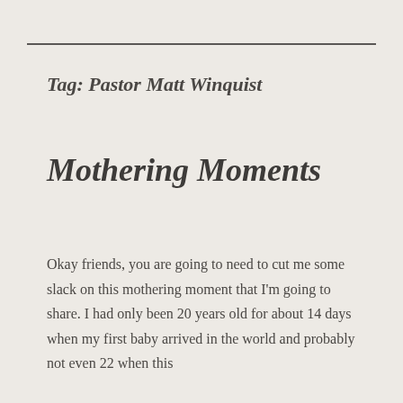Tag: Pastor Matt Winquist
Mothering Moments
Okay friends, you are going to need to cut me some slack on this mothering moment that I'm going to share. I had only been 20 years old for about 14 days when my first baby arrived in the world and probably not even 22 when this